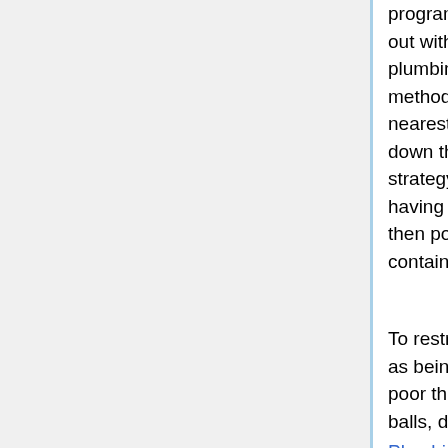program hold. You are able to thaw them out without getting in touch with a plumbing service. Before beginning this method, open the sink and begin thawing nearest to the tap and after that transfer down the road as sections thaw out. One strategy you can use is to place the tubing having a heavy bath towel or burlap and then pour very hot water above it, set a container under to catch the water.
To restriction toilet problems, don't use it as being a garbage can. Avoid flushing poor things on the toilet, like pure cotton balls, diapers, paper bathroom towels, Plombier or womanly hygiene goods. These sorts of products can block your toilet since they usually do not break